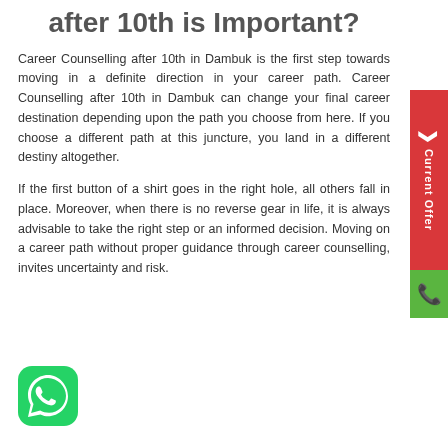after 10th is Important?
Career Counselling after 10th in Dambuk is the first step towards moving in a definite direction in your career path. Career Counselling after 10th in Dambuk can change your final career destination depending upon the path you choose from here. If you choose a different path at this juncture, you land in a different destiny altogether.
If the first button of a shirt goes in the right hole, all others fall in place. Moreover, when there is no reverse gear in life, it is always advisable to take the right step or an informed decision. Moving on a career path without proper guidance through career counselling, invites uncertainty and risk.
[Figure (logo): WhatsApp icon - green rounded square with white phone/chat logo]